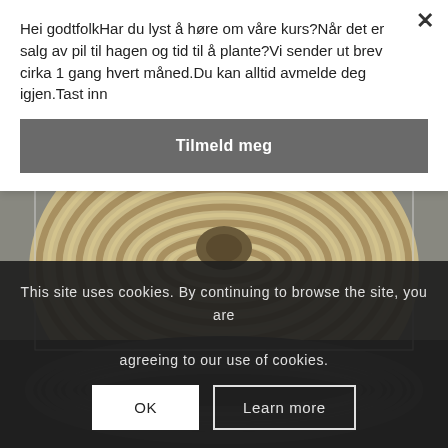Hei godtfolkHar du lyst å høre om våre kurs?Når det er salg av pil til hagen og tid til å plante?Vi sender ut brev cirka 1 gang hvert måned.Du kan alltid avmelde deg igjen.Tast inn
Tilmeld meg
[Figure (photo): A coiled rope showing both natural tan/beige twisted rope on top and dark black rope below, viewed from above.]
This site uses cookies. By continuing to browse the site, you are agreeing to our use of cookies.
OK
Learn more